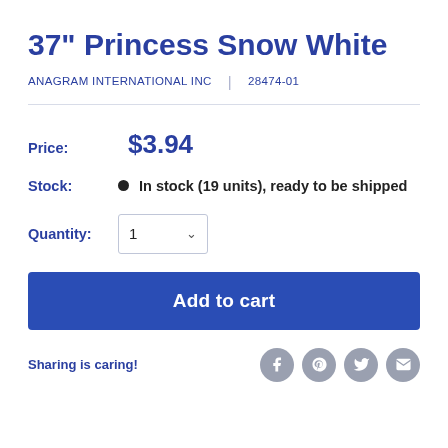37" Princess Snow White
ANAGRAM INTERNATIONAL INC | 28474-01
Price: $3.94
Stock: In stock (19 units), ready to be shipped
Quantity: 1
Add to cart
Sharing is caring!